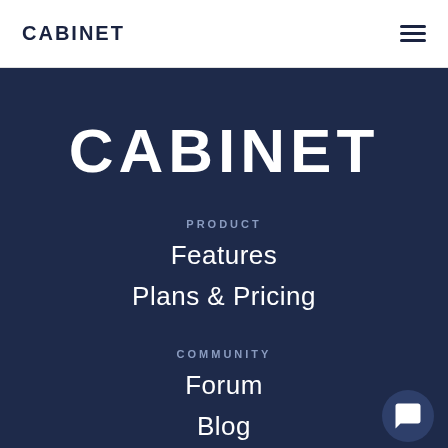CABINET
CABINET
PRODUCT
Features
Plans & Pricing
COMMUNITY
Forum
Blog